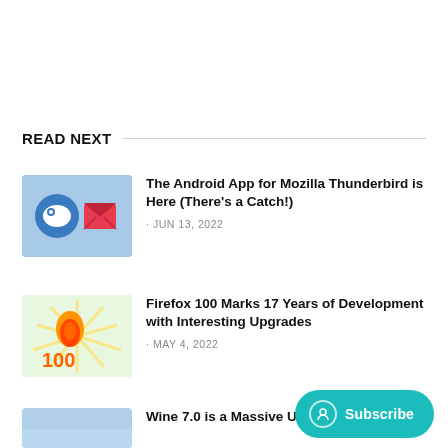READ NEXT
The Android App for Mozilla Thunderbird is Here (There's a Catch!) · JUN 13, 2022
Firefox 100 Marks 17 Years of Development with Interesting Upgrades · MAY 4, 2022
Wine 7.0 is a Massive Upgrade with